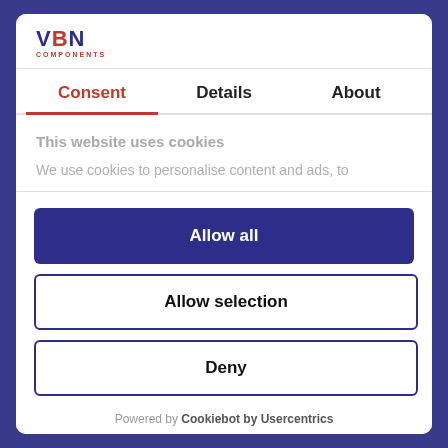[Figure (logo): VBN Components logo with blue VBN text and red COMPONENTS subtitle]
Consent | Details | About
This website uses cookies
We use cookies to personalise content and ads, to
Allow all
Allow selection
Deny
Powered by Cookiebot by Usercentrics